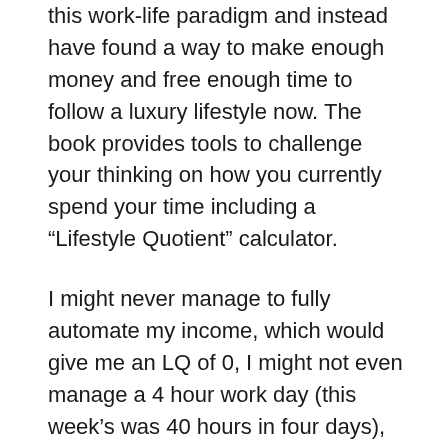this work-life paradigm and instead have found a way to make enough money and free enough time to follow a luxury lifestyle now. The book provides tools to challenge your thinking on how you currently spend your time including a “Lifestyle Quotient” calculator.
I might never manage to fully automate my income, which would give me an LQ of 0, I might not even manage a 4 hour work day (this week’s was 40 hours in four days), but it did challenge me to think a little more in terms of what I really want to be spending my time on – and where I spend my best energy.  Well worth the read.